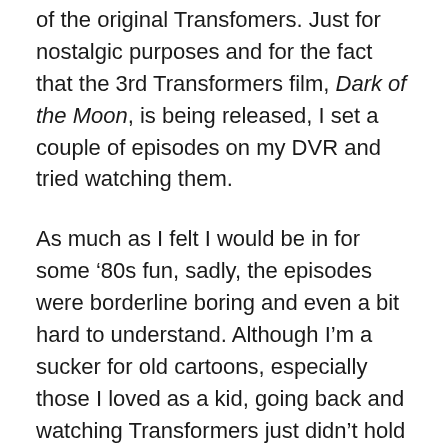of the original Transfomers. Just for nostalgic purposes and for the fact that the 3rd Transformers film, Dark of the Moon, is being released, I set a couple of episodes on my DVR and tried watching them.
As much as I felt I would be in for some ’80s fun, sadly, the episodes were borderline boring and even a bit hard to understand. Although I’m a sucker for old cartoons, especially those I loved as a kid, going back and watching Transformers just didn’t hold my attention at all. Expecting a 25 year old cartoon to enthrall and entertain me seems totally unrealistic, but even the silliest episodes of He-Man and She-Ra still mesmerize me. It’s a shame too because I was a fan of Transformers as a kid, and so were most of my friends, since we